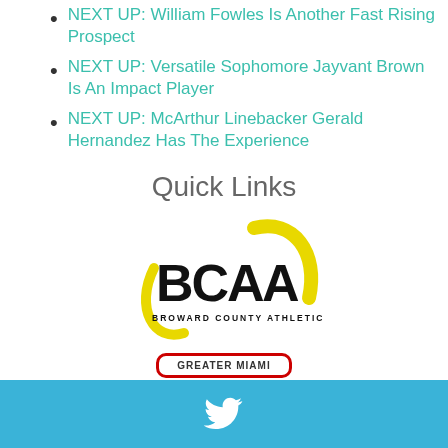NEXT UP: William Fowles Is Another Fast Rising Prospect
NEXT UP: Versatile Sophomore Jayvant Brown Is An Impact Player
NEXT UP: McArthur Linebacker Gerald Hernandez Has The Experience
Quick Links
[Figure (logo): BCAA Broward County Athletic Association logo with yellow arc and black bold text]
[Figure (logo): Greater Miami badge/logo with red border]
Twitter bird icon on sky-blue footer bar